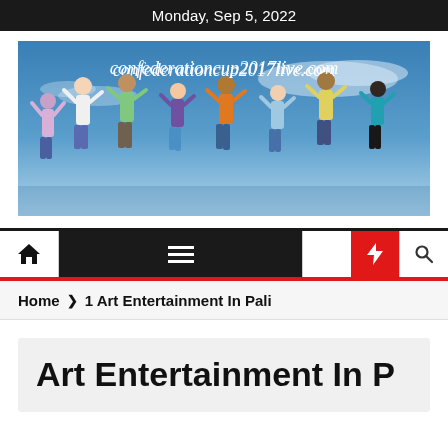Monday, Sep 5, 2022
[Figure (photo): Banner image for confederationcup2017live.com showing diverse group of people jumping together against a blue sky background, with website URL text overlay]
Home > 1 Art Entertainment In Pali
Art Entertainment In Pali